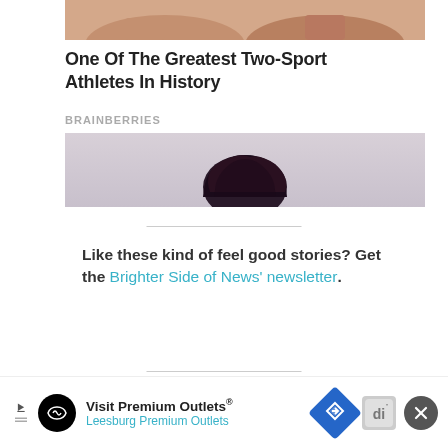[Figure (photo): Cropped photo showing legs/feet area, skin tones, sandy background]
One Of The Greatest Two-Sport Athletes In History
BRAINBERRIES
[Figure (photo): Photo showing a person with curly dark hair against gray background, seen from behind/top]
Like these kind of feel good stories?  Get the Brighter Side of News' newsletter.
Tags:  #New_Innovations, #Cancer,
[Figure (other): Advertisement banner: Visit Premium Outlets® Leesburg Premium Outlets with logo icons]